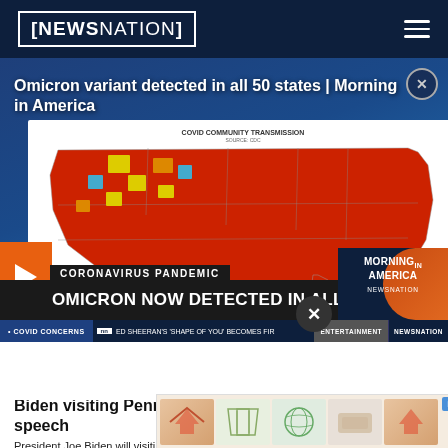NEWSNATION
Omicron variant detected in all 50 states | Morning in America
[Figure (screenshot): NewsNation broadcast screenshot showing US COVID community transmission map with Omicron headline ticker. The map of the United States is color-coded red/yellow/blue showing community transmission levels. Lower chyron reads 'OMICRON NOW DETECTED IN ALL 50 STATES'. Ticker at bottom shows COVID CONCERNS, ED SHEERAN SHAPE OF YOU news. Morning in America logo in bottom right.]
Biden visiting Pennsylvania instead of soul of nation speech
President Joe Biden will visiting Pennsylvania this